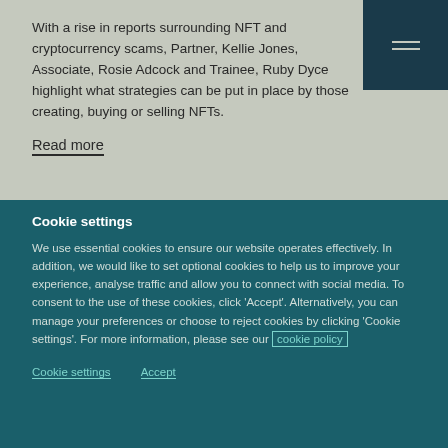With a rise in reports surrounding NFT and cryptocurrency scams, Partner, Kellie Jones, Associate, Rosie Adcock and Trainee, Ruby Dyce highlight what strategies can be put in place by those creating, buying or selling NFTs.
Read more
Cookie settings
We use essential cookies to ensure our website operates effectively. In addition, we would like to set optional cookies to help us to improve your experience, analyse traffic and allow you to connect with social media. To consent to the use of these cookies, click ‘Accept’. Alternatively, you can manage your preferences or choose to reject cookies by clicking ‘Cookie settings’. For more information, please see our cookie policy
Cookie settings
Accept